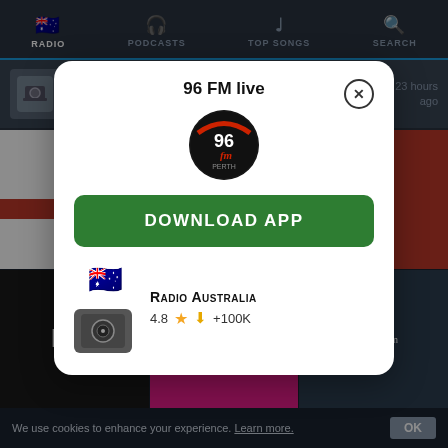[Figure (screenshot): Mobile app screenshot showing a radio app interface with navigation bar (RADIO, PODCASTS, TOP SONGS, SEARCH), a song row showing 'Hold Me Now' by Thompson Twins, a grid of radio station logos, and a modal dialog for '96 FM live' with a DOWNLOAD APP button and Radio Australia app info showing 4.8 star rating and +100K downloads. Cookie consent bar at bottom.]